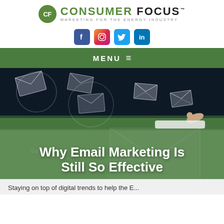[Figure (logo): Consumer Focus logo with green CF circle and tagline 'Marketing for the Energy Industry']
[Figure (infographic): Social media icons: Facebook, Instagram, Twitter, LinkedIn]
MENU ≡
[Figure (photo): Hero image showing floating email envelopes on a dark background with a hand touching one envelope, overlaid with green semi-transparent section containing the article title]
Why Email Marketing Is Still So Effective
Staying on top of digital trends to help the E...